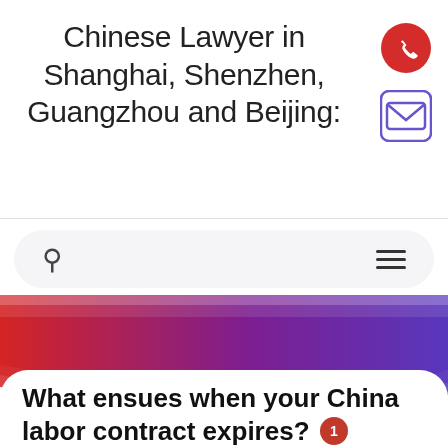Chinese Lawyer in Shanghai, Shenzhen, Guangzhou and Beijing:
[Figure (illustration): Red circle with white phone/call icon]
[Figure (illustration): Blue/purple outlined envelope email icon]
[Figure (illustration): Search bar with magnifying glass icon and hamburger menu icon]
[Figure (illustration): Gradient banner from red to purple]
What ensues when your China labor contract expires?
China Employment   November 25, 2013   Jason Tian
[Figure (illustration): Social share icons row: Twitter (blue bird), Facebook (blue f), Pinterest (red P), LinkedIn (blue in)]